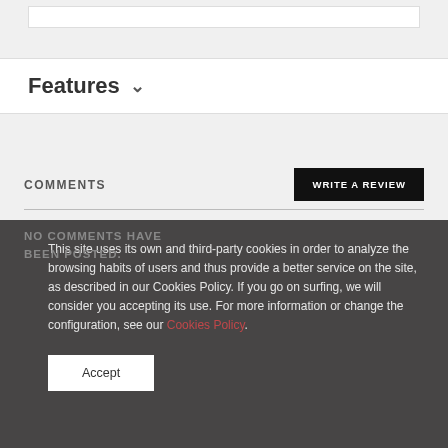Features ∨
COMMENTS
WRITE A REVIEW
NO COMMENTS HAVE BEEN POSTED.
This site uses its own and third-party cookies in order to analyze the browsing habits of users and thus provide a better service on the site, as described in our Cookies Policy. If you go on surfing, we will consider you accepting its use. For more information or change the configuration, see our Cookies Policy.
Accept